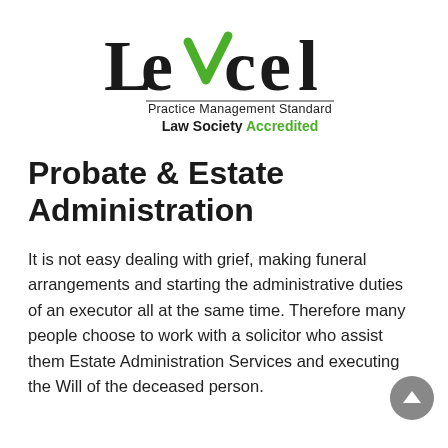[Figure (logo): Lexcel Practice Management Standard Law Society Accredited logo. Large black serif text 'Lexcel' with a green checkmark replacing the letter 'x', subtext 'Practice Management Standard' and 'Law Society Accredited' with 'Accredited' in green.]
Probate & Estate Administration
It is not easy dealing with grief, making funeral arrangements and starting the administrative duties of an executor all at the same time. Therefore many people choose to work with a solicitor who assist them Estate Administration Services and executing the Will of the deceased person.